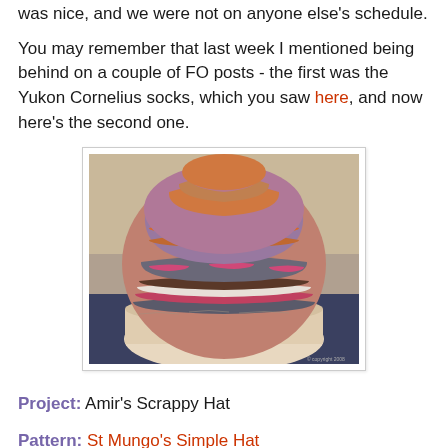was nice, and we were not on anyone else's schedule.
You may remember that last week I mentioned being behind on a couple of FO posts - the first was the Yukon Cornelius socks, which you saw here, and now here's the second one.
[Figure (photo): A hand-knitted scrappy hat with multicolored stripes in orange, pink, purple, grey, and white/cream tones, photographed on a flat surface.]
Project:  Amir's Scrappy Hat
Pattern:  St Mungo's Simple Hat